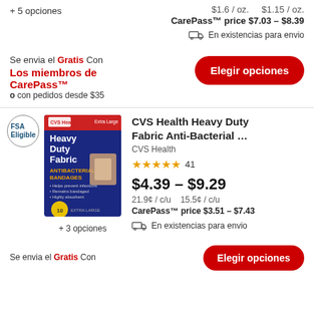+ 5 opciones
$1.6 / oz.    $1.15 / oz.
CarePass™ price $7.03 – $8.39
En existencias para envio
Se envia el Gratis Con
Los miembros de CarePass™
o con pedidos desde $35
Elegir opciones
[Figure (photo): CVS Health Heavy Duty Fabric Antibacterial Bandages product box, dark blue packaging, extra large size]
+ 3 opciones
CVS Health Heavy Duty Fabric Anti-Bacterial …
CVS Health
★★★★★ 41
$4.39 – $9.29
21.9¢ / c/u    15.5¢ / c/u
CarePass™ price $3.51 – $7.43
En existencias para envio
Elegir opciones
Se envia el Gratis Con